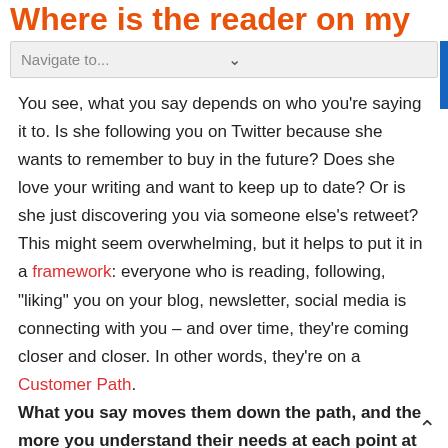Where is the reader on my
Navigate to...
You see, what you say depends on who you're saying it to. Is she following you on Twitter because she wants to remember to buy in the future? Does she love your writing and want to keep up to date? Or is she just discovering you via someone else's retweet?
This might seem overwhelming, but it helps to put it in a framework: everyone who is reading, following, "liking" you on your blog, newsletter, social media is connecting with you – and over time, they're coming closer and closer. In other words, they're on a Customer Path.
What you say moves them down the path, and the more you understand their needs at each point at the path, the easier time you'll have figuring out what to say.